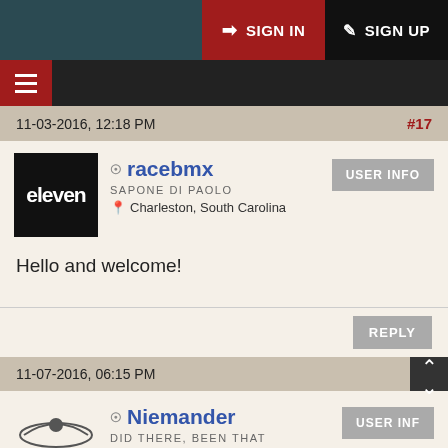SIGN IN   SIGN UP
11-03-2016, 12:18 PM   #17
racebmx
SAPONE DI PAOLO
Charleston, South Carolina
USER INFO
Hello and welcome!
REPLY
11-07-2016, 06:15 PM
Niemander
DID THERE, BEEN THAT
Colorado
USER INF...